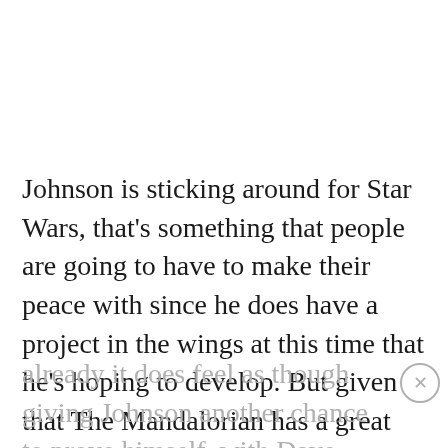Johnson is sticking around for Star Wars, that's something that people are going to have to make their peace with since he does have a project in the wings at this time that he's hoping to develop. But given that The Mandalorian has a great reputation already it does feel as though giving Johnson another chance to prove himself, with Dave Filoni and Jon Favreau looking on hopefully, might possibly be a decent idea. Johnson isn't the worst